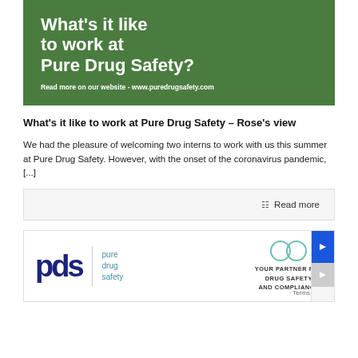[Figure (illustration): Green banner with bold white text reading 'What's it like to work at Pure Drug Safety?' and subtitle 'Read more on our website - www.puredrugsafety.com']
What's it like to work at Pure Drug Safety – Rose's view
We had the pleasure of welcoming two interns to work with us this summer at Pure Drug Safety. However, with the onset of the coronavirus pandemic, [...]
Read more
[Figure (logo): Pure Drug Safety (pds) logo with navy blue letters and teal text 'pure drug safety', alongside partner branding 'YOUR PARTNER FOR DRUG SAFETY AND COMPLIANCE' with overlapping teal circles icon]